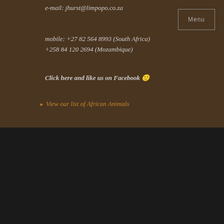e-mail: jhurst@limpopo.co.za
mobile: +27 82 564 8993 (South Africa)
+258 84 120 2694 (Mozambique)
Click here and like us on Facebook 🙂
⯈ View our list of African Animals
[Figure (logo): Small logo or icon image in the dark footer area]
2022. All Rights Reserved.